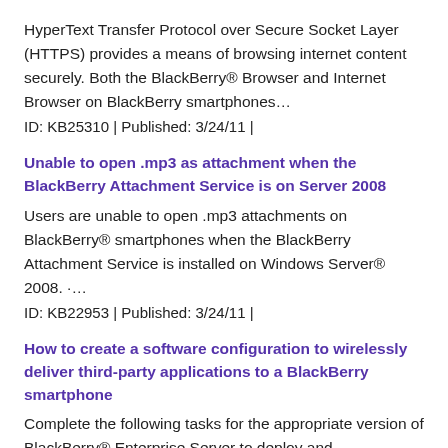HyperText Transfer Protocol over Secure Socket Layer (HTTPS) provides a means of browsing internet content securely. Both the BlackBerry® Browser and Internet Browser on BlackBerry smartphones…
ID: KB25310 | Published: 3/24/11 |
Unable to open .mp3 as attachment when the BlackBerry Attachment Service is on Server 2008
Users are unable to open .mp3 attachments on BlackBerry® smartphones when the BlackBerry Attachment Service is installed on Windows Server® 2008. ·…
ID: KB22953 | Published: 3/24/11 |
How to create a software configuration to wirelessly deliver third-party applications to a BlackBerry smartphone
Complete the following tasks for the appropriate version of BlackBerry® Enterprise Server to deploy and